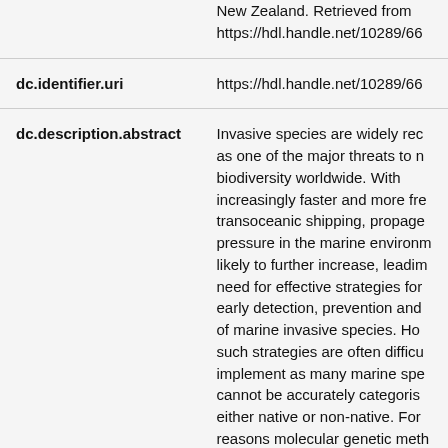| Field | Value |
| --- | --- |
|  | New Zealand. Retrieved from https://hdl.handle.net/10289/66... |
| dc.identifier.uri | https://hdl.handle.net/10289/66... |
| dc.description.abstract | Invasive species are widely rec... as one of the major threats to n... biodiversity worldwide. With increasingly faster and more fre... transoceanic shipping, propage... pressure in the marine environ... likely to further increase, leadin... need for effective strategies for... early detection, prevention and... of marine invasive species. Ho... such strategies are often difficu... implement as many marine spe... cannot be accurately categoris... either native or non-native. For... reasons molecular genetic met... have increasingly been utilised... |